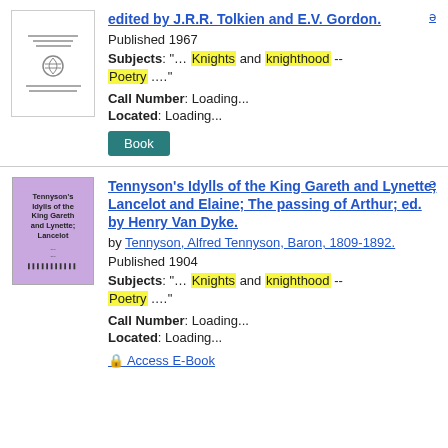[Figure (illustration): Book thumbnail: white cover with horizontal lines, emblem, and small text lines]
edited by J.R.R. Tolkien and E.V. Gordon.
Published 1967
Subjects: "... Knights and knighthood -- Poetry ...."
Call Number: Loading...
Located: Loading...
Book
[Figure (illustration): Book thumbnail: purple/lavender cover with title text 'Tennyson's Idylls of the King Gareth and Lynette; Lancelot ...' and barcode]
Tennyson's Idylls of the King Gareth and Lynette; Lancelot and Elaine; The passing of Arthur; ed. by Henry Van Dyke.
by Tennyson, Alfred Tennyson, Baron, 1809-1892.
Published 1904
Subjects: "... Knights and knighthood -- Poetry ...."
Call Number: Loading...
Located: Loading...
Access E-Book